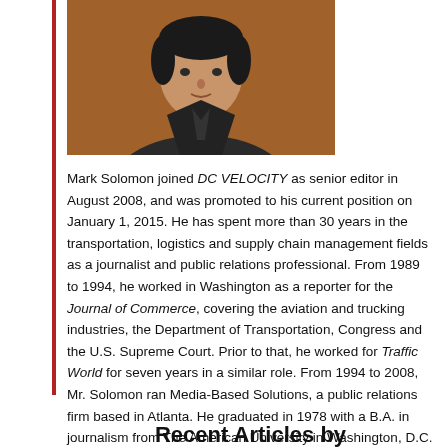[Figure (photo): Headshot of Mark Solomon, a man in a dark suit jacket against an orange-brown background]
Mark Solomon joined DC VELOCITY as senior editor in August 2008, and was promoted to his current position on January 1, 2015. He has spent more than 30 years in the transportation, logistics and supply chain management fields as a journalist and public relations professional. From 1989 to 1994, he worked in Washington as a reporter for the Journal of Commerce, covering the aviation and trucking industries, the Department of Transportation, Congress and the U.S. Supreme Court. Prior to that, he worked for Traffic World for seven years in a similar role. From 1994 to 2008, Mr. Solomon ran Media-Based Solutions, a public relations firm based in Atlanta. He graduated in 1978 with a B.A. in journalism from The American University in Washington, D.C.
Recent Articles by